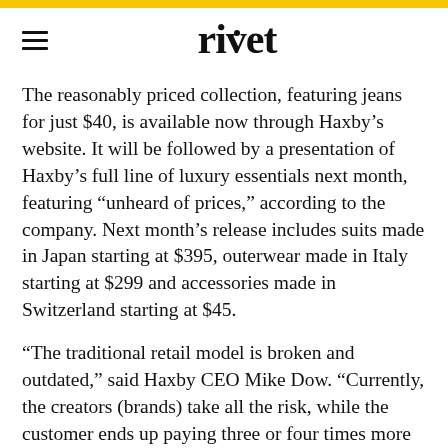rivet
The reasonably priced collection, featuring jeans for just $40, is available now through Haxby's website. It will be followed by a presentation of Haxby's full line of luxury essentials next month, featuring “unheard of prices,” according to the company. Next month’s release includes suits made in Japan starting at $395, outerwear made in Italy starting at $299 and accessories made in Switzerland starting at $45.
“The traditional retail model is broken and outdated,” said Haxby CEO Mike Dow. “Currently, the creators (brands) take all the risk, while the customer ends up paying three or four times more for the product than they really should—all due to the retailer’s giant markup. It just doesn’t make sense in today’s